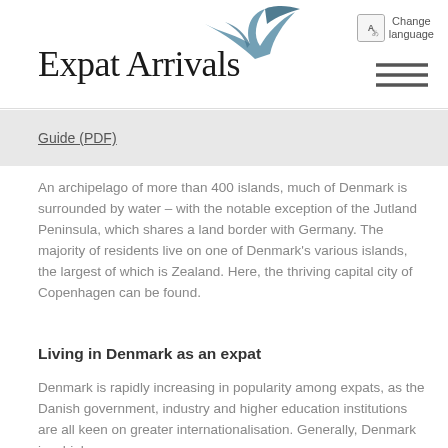Expat Arrivals
Guide (PDF)
An archipelago of more than 400 islands, much of Denmark is surrounded by water – with the notable exception of the Jutland Peninsula, which shares a land border with Germany. The majority of residents live on one of Denmark's various islands, the largest of which is Zealand. Here, the thriving capital city of Copenhagen can be found.
Living in Denmark as an expat
Denmark is rapidly increasing in popularity among expats, as the Danish government, industry and higher education institutions are all keen on greater internationalisation. Generally, Denmark is a high wage,